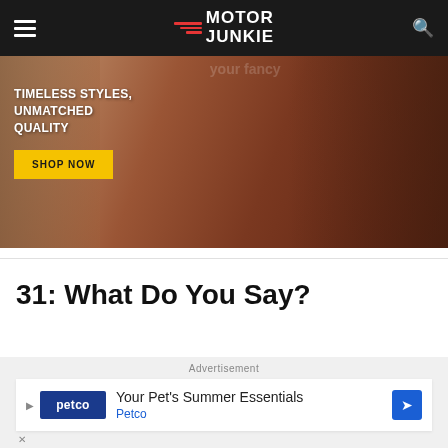Motor Junkie
[Figure (photo): Advertisement banner showing two women wearing fashionable sunglasses against a warm brown background. Text reads 'TIMELESS STYLES, UNMATCHED QUALITY' with a yellow 'SHOP NOW' button.]
31: What Do You Say?
Advertisement
[Figure (photo): Petco advertisement banner reading 'Your Pet's Summer Essentials' with Petco logo and branding.]